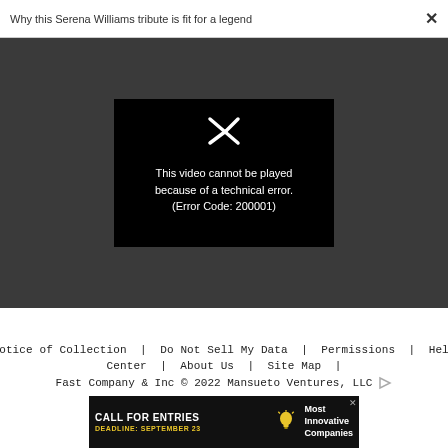Why this Serena Williams tribute is fit for a legend
[Figure (screenshot): Video player showing error message: 'This video cannot be played because of a technical error. (Error Code: 200001)' on a black background with a broken play icon, set against a dark gray modal background.]
Notice of Collection | Do Not Sell My Data | Permissions | Help Center | About Us | Site Map | Fast Company & Inc © 2022 Mansueto Ventures, LLC
[Figure (infographic): Advertisement banner: 'CALL FOR ENTRIES DEADLINE: SEPTEMBER 23' with a lightbulb icon and 'Most Innovative Companies' text on dark background.]